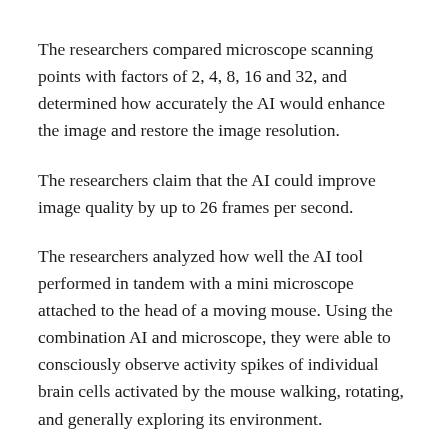The researchers compared microscope scanning points with factors of 2, 4, 8, 16 and 32, and determined how accurately the AI would enhance the image and restore the image resolution.
The researchers claim that the AI could improve image quality by up to 26 frames per second.
The researchers analyzed how well the AI tool performed in tandem with a mini microscope attached to the head of a moving mouse. Using the combination AI and microscope, they were able to consciously observe activity spikes of individual brain cells activated by the mouse walking, rotating, and generally exploring its environment.
According to Li, we would never have seen this information at a high resolution and frame rate before. This would make it possible to obtain more information on how the brain is